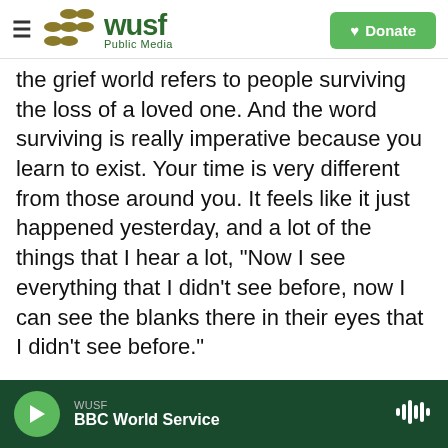WUSF Public Media — Donate
the grief world refers to people surviving the loss of a loved one. And the word surviving is really imperative because you learn to exist. Your time is very different from those around you. It feels like it just happened yesterday, and a lot of the things that I hear a lot, "Now I see everything that I didn't see before, now I can see the blanks there in their eyes that I didn't see before."
When we talk about depression, and I say depression is very different because just like different kinds of cancers they do different things to your body. Depression is very similar in that there
WUSF BBC World Service